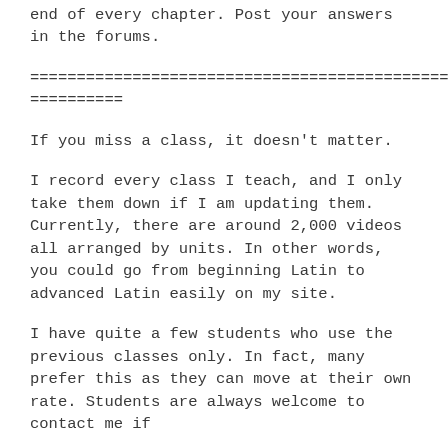end of every chapter.  Post your answers in the forums.
================================================== ==========
If you miss a class, it doesn't matter.
I record every class I teach, and I only take them down if I am updating them.  Currently, there are around 2,000 videos all arranged by units.  In other words, you could go from beginning Latin to advanced Latin easily on my site.
I have quite a few students who use the previous classes only.  In fact, many prefer this as they can move at their own rate.  Students are always welcome to contact me if